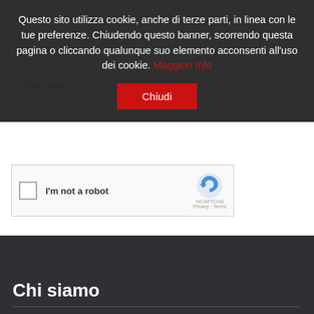Questo sito utilizza cookie, anche di terze parti, in linea con le tue preferenze. Chiudendo questo banner, scorrendo questa pagina o cliccando qualunque suo elemento acconsenti all'uso dei cookie. Maggiori Info
Chiudi
Password
[Figure (screenshot): reCAPTCHA widget with checkbox, 'I'm not a robot' label, and reCAPTCHA logo with Privacy and Terms links]
Entra
Chi siamo